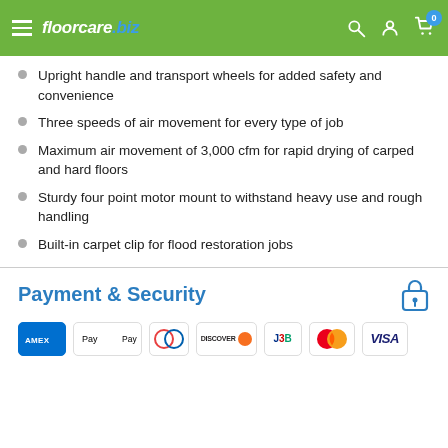floorcare.biz
Upright handle and transport wheels for added safety and convenience
Three speeds of air movement for every type of job
Maximum air movement of 3,000 cfm for rapid drying of carped and hard floors
Sturdy four point motor mount to withstand heavy use and rough handling
Built-in carpet clip for flood restoration jobs
Payment & Security
[Figure (other): Payment method icons: AMEX, Apple Pay, Diners Club, Discover, JCB, Mastercard, Visa]